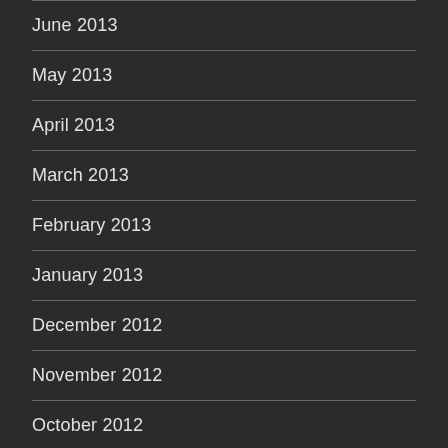June 2013
May 2013
April 2013
March 2013
February 2013
January 2013
December 2012
November 2012
October 2012
June 2012
May 2012